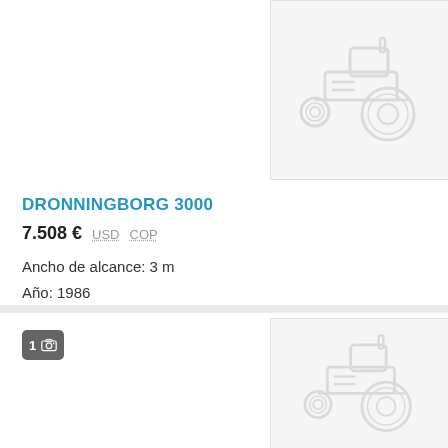[Figure (illustration): Placeholder tractor icon image (gray outline tractor on light gray background), top listing]
DRONNINGBORG 3000
7.508 €  USD  COP
Ancho de alcance: 3 m
Año: 1986
Letonia, Cēsis, Cēsu nov.
[Figure (illustration): Placeholder tractor icon image (gray outline tractor on light gray background), bottom listing]
1 [camera icon]